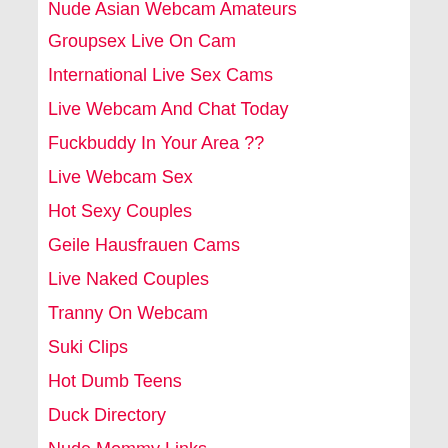Nude Asian Webcam Amateurs
Groupsex Live On Cam
International Live Sex Cams
Live Webcam And Chat Today
Fuckbuddy In Your Area ??
Live Webcam Sex
Hot Sexy Couples
Geile Hausfrauen Cams
Live Naked Couples
Tranny On Webcam
Suki Clips
Hot Dumb Teens
Duck Directory
Nude Mommy Links
Sex Behind Single Pane Windows
Web Cam World Friends >>